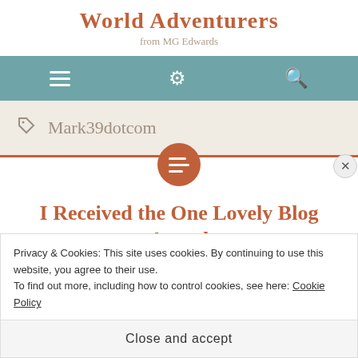World Adventurers
from MG Edwards
[Figure (screenshot): Navigation bar with hamburger menu, gear/settings icon, and search icon on teal background]
Mark39dotcom
I Received the One Lovely Blog Award
Privacy & Cookies: This site uses cookies. By continuing to use this website, you agree to their use.
To find out more, including how to control cookies, see here: Cookie Policy
Close and accept